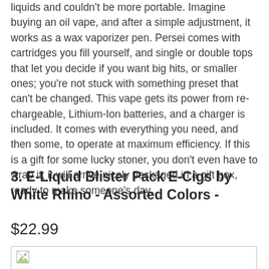liquids and couldn't be more portable. Imagine buying an oil vape, and after a simple adjustment, it works as a wax vaporizer pen. Persei comes with cartridges you fill yourself, and single or double tops that let you decide if you want big hits, or smaller ones; you're not stuck with something preset that can't be changed. This vape gets its power from rechargeable, Lithium-Ion batteries, and a charger is included. It comes with everything you need, and then some, to operate at maximum efficiency. If this is a gift for some lucky stoner, you don't even have to wrap it; it will arrive nicely packaged in a gift box, ready to make someone's day.
3. E-Liquid Blister Pack E-Cigs by White Rhino - Assorted Colors -
$22.99
[Figure (other): Product image placeholder with broken image icon]